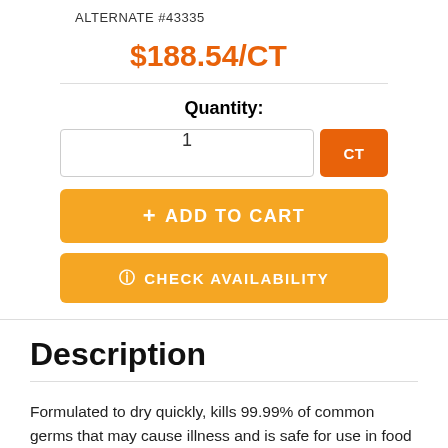ALTERNATE #43335
$188.54/CT
Quantity:
1 CT
+ ADD TO CART
CHECK AVAILABILITY
Description
Formulated to dry quickly, kills 99.99% of common germs that may cause illness and is safe for use in food processing and food service areas after proper hand washing. Moisturizing formulation to help hands stand up to frequent use. Designed to work with Pacific Blue